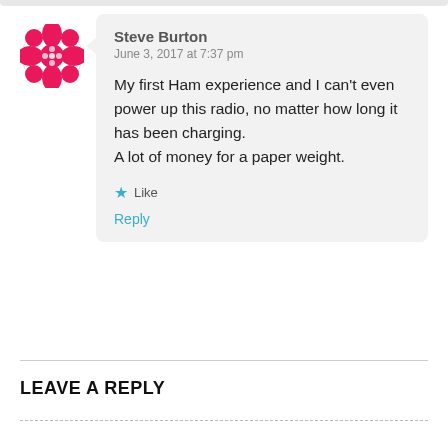[Figure (illustration): User avatar: circular icon with pink/red geometric cross-hatch pattern on white background]
Steve Burton
June 3, 2017 at 7:37 pm
My first Ham experience and I can't even power up this radio, no matter how long it has been charging.
A lot of money for a paper weight.
★ Like
Reply
LEAVE A REPLY